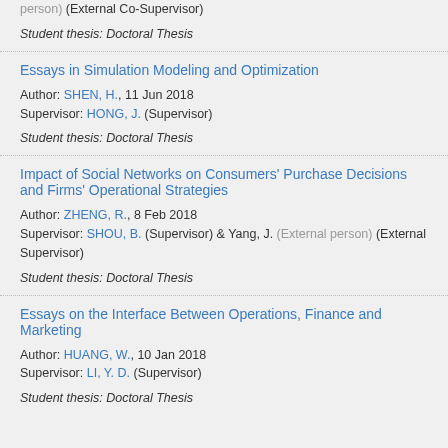person) (External Co-Supervisor)
Student thesis: Doctoral Thesis
Essays in Simulation Modeling and Optimization
Author: SHEN, H., 11 Jun 2018
Supervisor: HONG, J. (Supervisor)
Student thesis: Doctoral Thesis
Impact of Social Networks on Consumers' Purchase Decisions and Firms' Operational Strategies
Author: ZHENG, R., 8 Feb 2018
Supervisor: SHOU, B. (Supervisor) & Yang, J. (External person) (External Supervisor)
Student thesis: Doctoral Thesis
Essays on the Interface Between Operations, Finance and Marketing
Author: HUANG, W., 10 Jan 2018
Supervisor: LI, Y. D. (Supervisor)
Student thesis: Doctoral Thesis